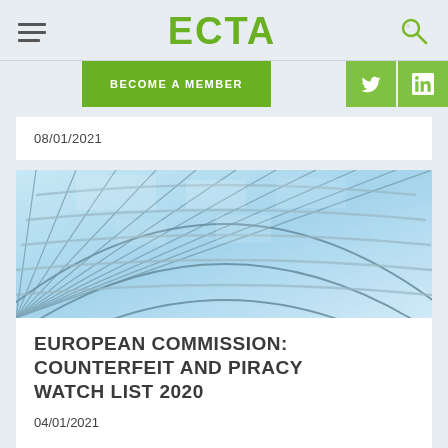ECTA
BECOME A MEMBER
08/01/2021
[Figure (photo): Glass ceiling architectural photo showing a curved grid of steel and glass panels with blue sky visible through them]
EUROPEAN COMMISSION: COUNTERFEIT AND PIRACY WATCH LIST 2020
04/01/2021